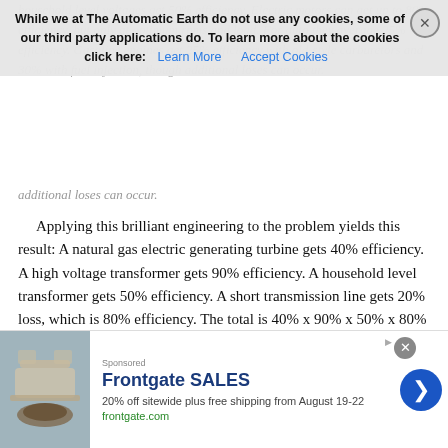household level voltages get 50% efficiency. Electric motors can get up to 80% efficiency, but only at optimum rpms and load. For auto they average 25% efficiency. Gasoline engines get 25% efficiency with old-style carburetors and 30% with fuel injection, though additional loses can occur.
Applying this brilliant engineering to the problem yields this result: A natural gas electric generating turbine gets 40% efficiency. A high voltage transformer gets 90% efficiency. A household level transformer gets 50% efficiency. A short transmission line gets 20% loss, which is 80% efficiency. The total is 40% x 90% x 50% x 80% = 14.4% of the electrical energy recovered (85.6% lost) before getting to the vehicle and doing something similar to the gasoline engine in the vehicle.
Read more …
[Figure (other): Frontgate SALES advertisement banner: 20% off sitewide plus free shipping from August 19-22, frontgate.com, with outdoor furniture image and blue arrow button]